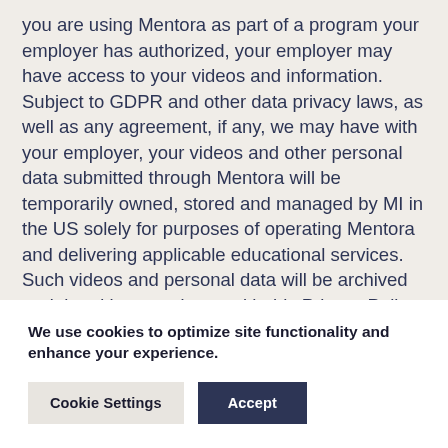you are using Mentora as part of a program your employer has authorized, your employer may have access to your videos and information. Subject to GDPR and other data privacy laws, as well as any agreement, if any, we may have with your employer, your videos and other personal data submitted through Mentora will be temporarily owned, stored and managed by MI in the US solely for purposes of operating Mentora and delivering applicable educational services. Such videos and personal data will be archived or deleted in accordance with this Privacy Policy.
We use cookies to optimize site functionality and enhance your experience.